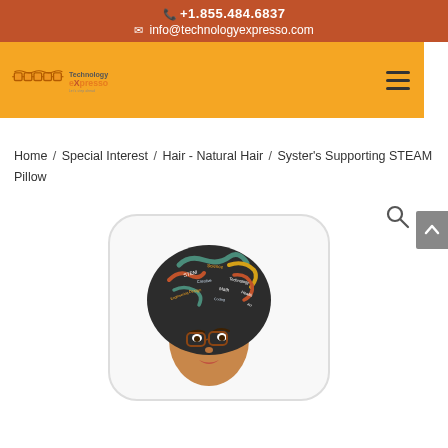📞 +1.855.484.6837 ✉ info@technologyexpresso.com
[Figure (logo): Technology Expresso logo with pixel-art glasses and text]
Home / Special Interest / Hair - Natural Hair / Syster's Supporting STEAM Pillow
[Figure (photo): White decorative pillow featuring illustrated face of woman with natural hair styled with STEAM-related words, wearing glasses]